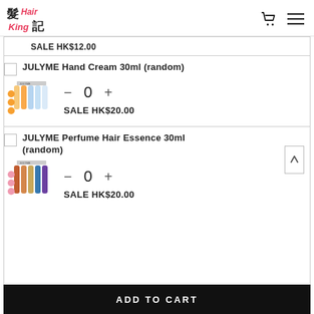髮 Hair King記 [logo with cart and menu icons]
SALE HK$12.00
JULYME Hand Cream 30ml (random)
[Figure (photo): JULYME Hand Cream 30ml product image showing colorful tubes]
0
SALE HK$20.00
JULYME Perfume Hair Essence 30ml (random)
[Figure (photo): JULYME Perfume Hair Essence 30ml product image showing colorful bottles]
0
SALE HK$20.00
ADD TO CART